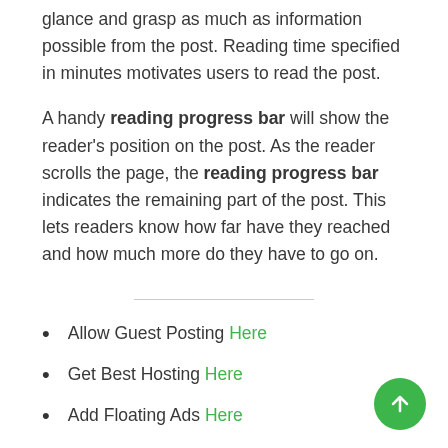glance and grasp as much as information possible from the post. Reading time specified in minutes motivates users to read the post.
A handy reading progress bar will show the reader's position on the post. As the reader scrolls the page, the reading progress bar indicates the remaining part of the post. This lets readers know how far have they reached and how much more do they have to go on.
Allow Guest Posting Here
Get Best Hosting Here
Add Floating Ads Here